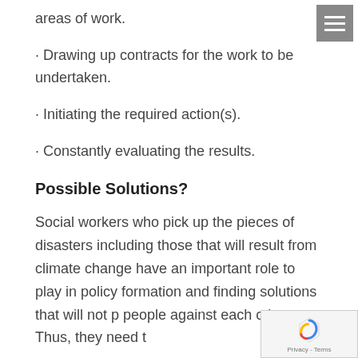areas of work.
· Drawing up contracts for the work to be undertaken.
· Initiating the required action(s).
· Constantly evaluating the results.
Possible Solutions?
Social workers who pick up the pieces of disasters including those that will result from climate change have an important role to play in policy formation and finding solutions that will not p people against each other. Thus, they need t